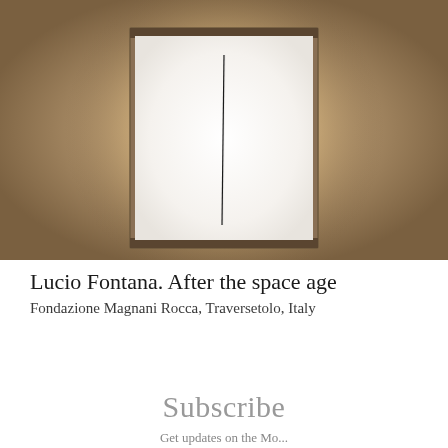[Figure (photo): A framed white canvas artwork with a single vertical slash/cut down the center, mounted on a warm brown/beige gallery wall with glowing backlighting creating a halo effect around the frame.]
Lucio Fontana. After the space age
Fondazione Magnani Rocca, Traversetolo, Italy
Subscribe
Get updates on the Mo...